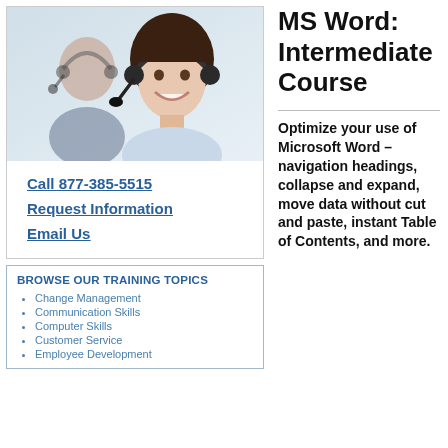[Figure (photo): Two women wearing headsets in a customer service / office setting, smiling at camera]
Call 877-385-5515
Request Information
Email Us
MS Word: Intermediate Course
Optimize your use of Microsoft Word – navigation headings, collapse and expand, move data without cut and paste, instant Table of Contents, and more.
BROWSE OUR TRAINING TOPICS
Change Management
Communication Skills
Computer Skills
Customer Service
Employee Development